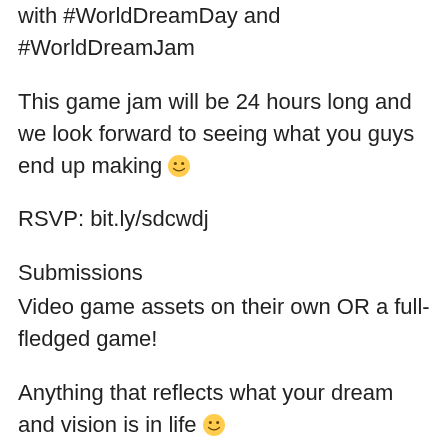with #WorldDreamDay and #WorldDreamJam
This game jam will be 24 hours long and we look forward to seeing what you guys end up making 🙂
RSVP: bit.ly/sdcwdj
Submissions
Video game assets on their own OR a full-fledged game!
Anything that reflects what your dream and vision is in life 🙂
Theme
What's your dream? What's your mission?
It can be a personal dream of yours or you can interpret it in any way you'd like for the game